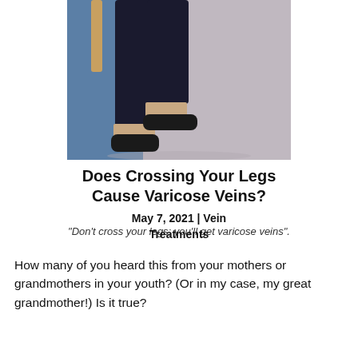[Figure (photo): Photo of a person's crossed legs wearing dark pants and black flat shoes, standing on a light gray surface with a blue background on the left side.]
Does Crossing Your Legs Cause Varicose Veins?
May 7, 2021 | Vein Treatments
“Don’t cross your legs; you’ll get varicose veins”.
How many of you heard this from your mothers or grandmothers in your youth? (Or in my case, my great grandmother!) Is it true?